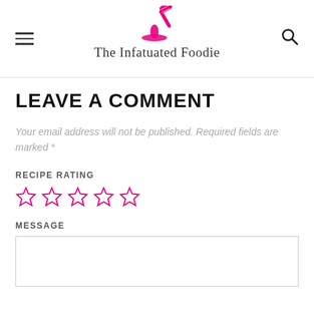The Infatuated Foodie
LEAVE A COMMENT
Your email address will not be published. Required fields are marked *
RECIPE RATING
[Figure (other): Five empty pink star rating icons]
MESSAGE
[Figure (other): Empty message text area input box]